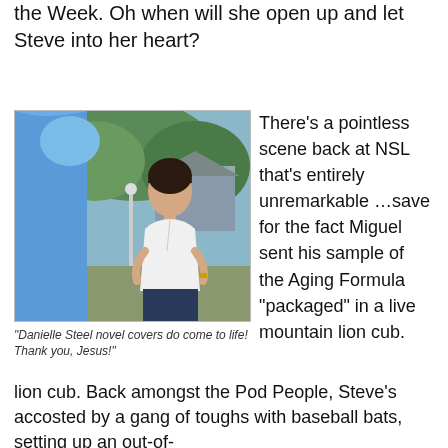the Week. Oh when will she open up and let Steve into her heart?
[Figure (photo): Outdoor scene with two people: a person in a blue top on the left (partially visible) and a woman in a white blouse with dark hair standing in front of a house with trees in the background.]
"Danielle Steel novel covers do come to life! Thank you, Jesus!"
There’s a pointless scene back at NSL that’s entirely unremarkable …save for the fact Miguel sent his sample of the Aging Formula “packaged” in a live mountain lion cub. Back amongst the Pod People, Steve’s accosted by a gang of toughs with baseball bats, setting up an out-of-
lion cub. Back amongst the Pod People, Steve’s accosted by a gang of toughs with baseball bats, setting up an out-of-